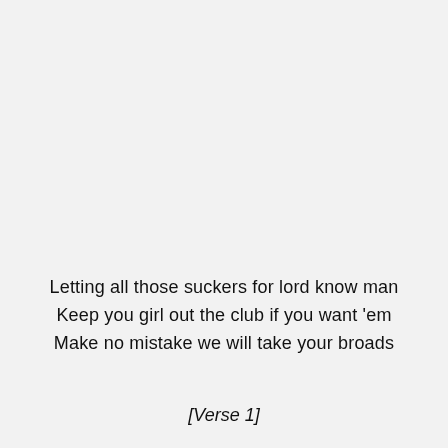Letting all those suckers for lord know man
Keep you girl out the club if you want 'em
Make no mistake we will take your broads
[Verse 1]